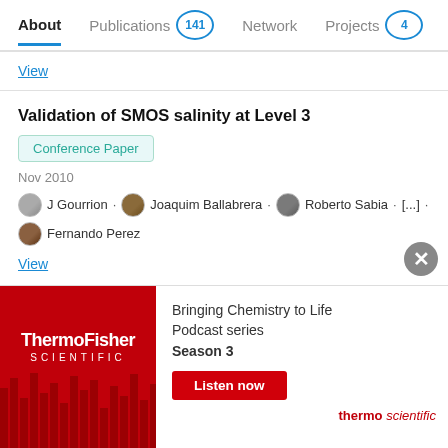About  Publications 141  Network  Projects 4
View
Validation of SMOS salinity at Level 3
Conference Paper
Nov 2010
J Gourrion · Joaquim Ballabrera · Roberto Sabia · [...] · Fernando Perez
View
Release of SMOS level 2 Ocean Salinity (OS) products to general users
[Figure (screenshot): ThermoFisher Scientific advertisement banner: Bringing Chemistry to Life Podcast series Season 3, with Listen now button and thermo scientific logo]